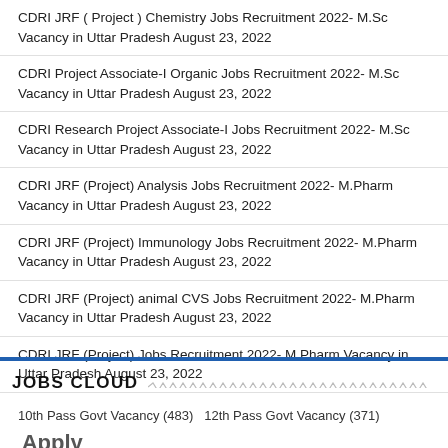CDRI JRF ( Project ) Chemistry Jobs Recruitment 2022- M.Sc Vacancy in Uttar Pradesh August 23, 2022
CDRI Project Associate-I Organic Jobs Recruitment 2022- M.Sc Vacancy in Uttar Pradesh August 23, 2022
CDRI Research Project Associate-I Jobs Recruitment 2022- M.Sc Vacancy in Uttar Pradesh August 23, 2022
CDRI JRF (Project) Analysis Jobs Recruitment 2022- M.Pharm Vacancy in Uttar Pradesh August 23, 2022
CDRI JRF (Project) Immunology Jobs Recruitment 2022- M.Pharm Vacancy in Uttar Pradesh August 23, 2022
CDRI JRF (Project) animal CVS Jobs Recruitment 2022- M.Pharm Vacancy in Uttar Pradesh August 23, 2022
CDRI JRF (Project) Jobs Recruitment 2022- M.Pharm Vacancy in Uttar Pradesh August 23, 2022
JOBS CLOUD
10th Pass Govt Vacancy (483) 12th Pass Govt Vacancy (371) Apply